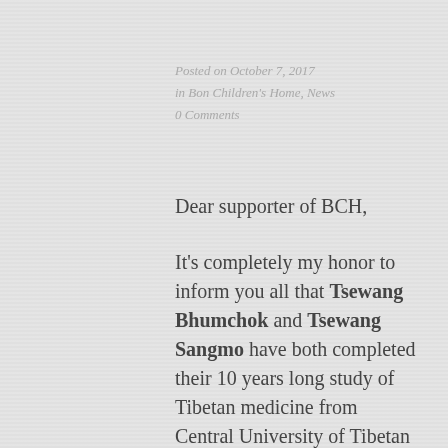Posted on October 7, 2017
in Bon Children's Home, News
0 Comments
Dear supporter of BCH,
It's completely my honor to inform you all that Tsewang Bhumchok and Tsewang Sangmo have both completed their 10 years long study of Tibetan medicine from Central University of Tibetan Studies, Sarnath, Varanasi recently under the scholarship program of BCH. Now both of them can work as a professional Tibetan medicine